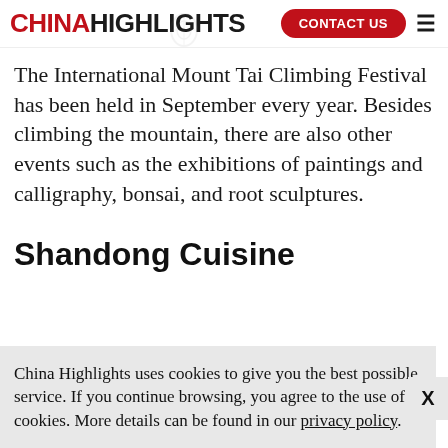CHINAHIGHLIGHTS | CONTACT US
The International Mount Tai Climbing Festival has been held in September every year. Besides climbing the mountain, there are also other events such as the exhibitions of paintings and calligraphy, bonsai, and root sculptures.
Shandong Cuisine
China Highlights uses cookies to give you the best possible service. If you continue browsing, you agree to the use of cookies. More details can be found in our privacy policy.